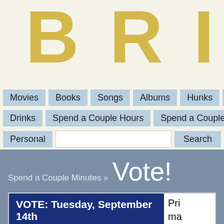BRIX
Movies
Books
Songs
Albums
Hunks
Style Ico
Drinks
Spend a Couple Hours
Spend a Couple Minutes
Personal
Spend a Couple Minutes » Vote!
[Figure (screenshot): Campaign advertisement: VOTE: Tuesday, September 14th — Lincoln Restler primary election campaign poster in blue and green]
Primary El ect ion